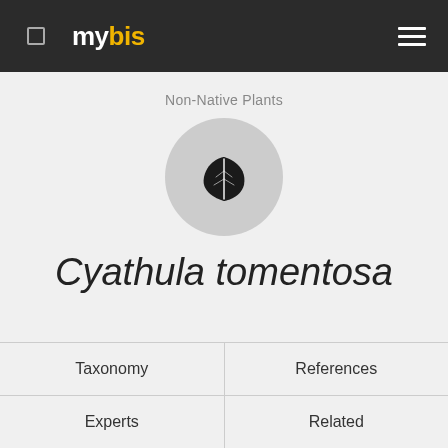mybis
Non-Native Plants
[Figure (illustration): A circular grey icon showing a black leaf silhouette, representing plant category]
Cyathula tomentosa
Taxonomy
References
Experts
Related